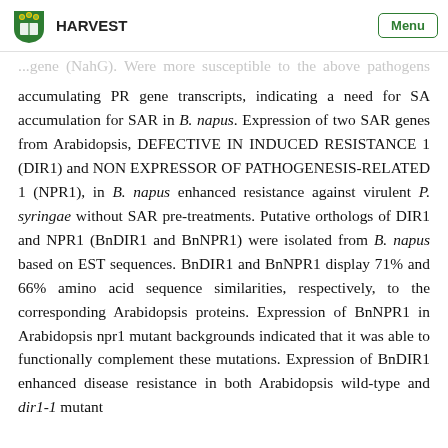HARVEST   Menu
accumulating PR gene transcripts, indicating a need for SA accumulation for SAR in B. napus. Expression of two SAR genes from Arabidopsis, DEFECTIVE IN INDUCED RESISTANCE 1 (DIR1) and NON EXPRESSOR OF PATHOGENESIS-RELATED 1 (NPR1), in B. napus enhanced resistance against virulent P. syringae without SAR pre-treatments. Putative orthologs of DIR1 and NPR1 (BnDIR1 and BnNPR1) were isolated from B. napus based on EST sequences. BnDIR1 and BnNPR1 display 71% and 66% amino acid sequence similarities, respectively, to the corresponding Arabidopsis proteins. Expression of BnNPR1 in Arabidopsis npr1 mutant backgrounds indicated that it was able to functionally complement these mutations. Expression of BnDIR1 enhanced disease resistance in both Arabidopsis wild-type and dir1-1 mutant